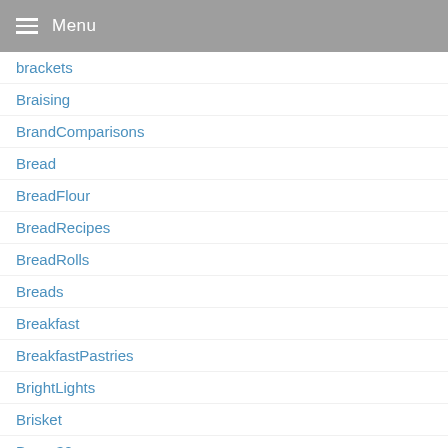Menu
brackets
Braising
BrandComparisons
Bread
BreadFlour
BreadRecipes
BreadRolls
Breads
Breakfast
BreakfastPastries
BrightLights
Brisket
Broan30
Broan30InchDowndraftRangeHood
Broan30InchRangeHoodBlack
BroanAllure30InchRangeHood
BroanElite30InchRangeHood